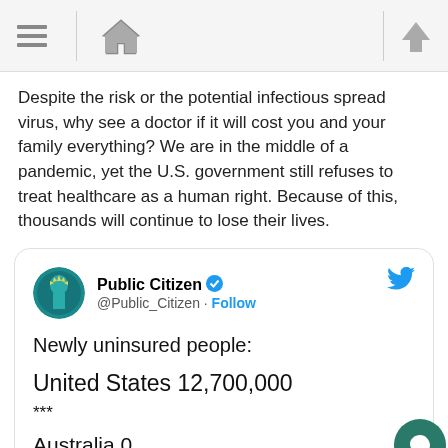Navigation bar with menu, home, and up icons
Despite the risk or the potential infectious spread virus, why see a doctor if it will cost you and your family everything? We are in the middle of a pandemic, yet the U.S. government still refuses to treat healthcare as a human right. Because of this, thousands will continue to lose their lives.
[Figure (screenshot): Embedded tweet from @Public_Citizen showing 'Newly uninsured people: United States 12,700,000 *** Australia 0 Belgium 0 Canada 0 Chile 0']